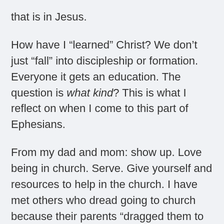that is in Jesus.
How have I “learned” Christ? We don’t just “fall” into discipleship or formation. Everyone it gets an education. The question is what kind? This is what I reflect on when I come to this part of Ephesians.
From my dad and mom: show up. Love being in church. Serve. Give yourself and resources to help in the church. I have met others who dread going to church because their parents “dragged them to church every Sunday.” Somehow, I was spared that feeling. Not because our church was exciting or we had the best preaching or the best music or whatever. We had bad pastors and good pastors. We had gossip and we had people who lifted everyone around them to a higher level. I never had a youth group of any size worth